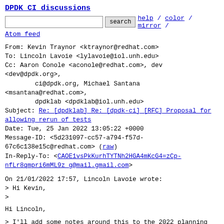DPDK CI discussions
search  help / color / mirror /
Atom feed
From: Kevin Traynor <ktraynor@redhat.com>
To: Lincoln Lavoie <lylavoie@iol.unh.edu>
Cc: Aaron Conole <aconole@redhat.com>, dev
<dev@dpdk.org>,
        ci@dpdk.org, Michael Santana
<msantana@redhat.com>,
        dpdklab <dpdklab@iol.unh.edu>
Subject: Re: [dpdklab] Re: [dpdk-ci] [RFC] Proposal for allowing rerun of tests
Date: Tue, 25 Jan 2022 13:05:22 +0000
Message-ID: <5d231097-cc57-a794-f57d-67c6c138e15c@redhat.com> (raw)
In-Reply-To: <CAOE1vsPkKurhTYTNh2HGA4mKcG4=zCp-nfLr8qmpri6mML9z_g@mail.gmail.com>
On 21/01/2022 17:57, Lincoln Lavoie wrote:
> Hi Kevin,
>
Hi Lincoln,
> I'll add some notes around this to the 2022 planning doc.  The retests
> requests for the periodic tests are tricky from the discussed patchworks /